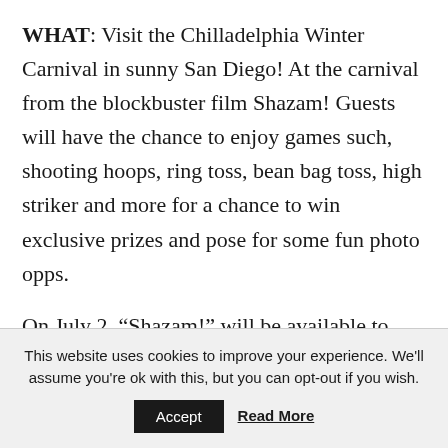WHAT: Visit the Chilladelphia Winter Carnival in sunny San Diego! At the carnival from the blockbuster film Shazam! Guests will have the chance to enjoy games such, shooting hoops, ring toss, bean bag toss, high striker and more for a chance to win exclusive prizes and pose for some fun photo opps.
On July 2, “Shazam!” will be available to own in high definition and standard definition from select digital retailers including Amazon, FandangoNOW,
This website uses cookies to improve your experience. We'll assume you're ok with this, but you can opt-out if you wish.
Accept | Read More